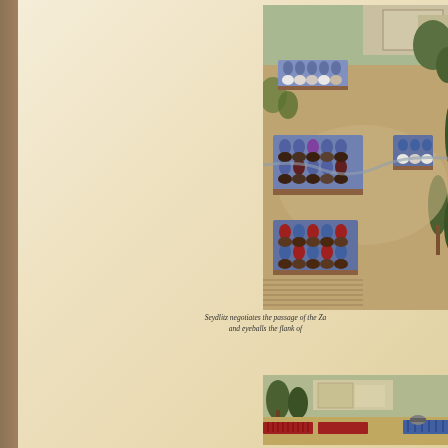[Figure (photo): Wargame miniatures photo showing cavalry figures negotiating a passage across a stream or terrain feature, with trees and buildings in the background. Multiple units of horse soldiers on bases arranged on a sandy terrain board.]
Seydlitz negotiates the passage of the Za and eyeballs the flank of
[Figure (photo): Wargame miniatures photo showing infantry formations in the distance across open terrain with trees and buildings visible.]